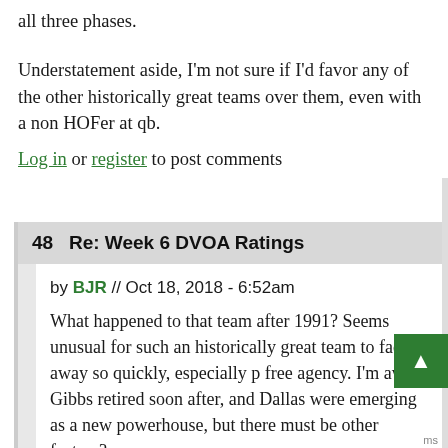all three phases.
Understatement aside, I'm not sure if I'd favor any of the other historically great teams over them, even with a non HOFer at qb.
Log in or register to post comments
48  Re: Week 6 DVOA Ratings
by BJR // Oct 18, 2018 - 6:52am
What happened to that team after 1991? Seems unusual for such an historically great team to fade away so quickly, especially p free agency. I'm aware Gibbs retired soon after, and Dallas were emerging as a new powerhouse, but there must be other factors?